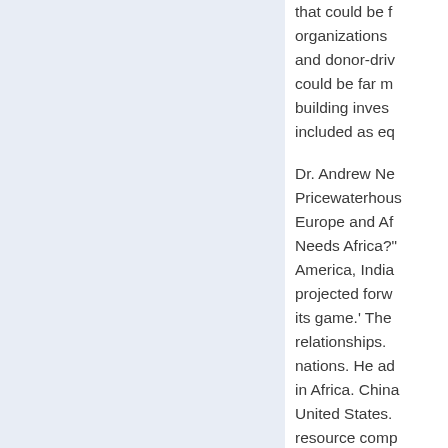that could be funded by organizations and donor-driven could be far more building investments included as eq
Dr. Andrew Ne Pricewaterhous Europe and Af Needs Africa? America, India projected forw its game.' The relationships. nations. He ad in Africa. China United States. resource comp